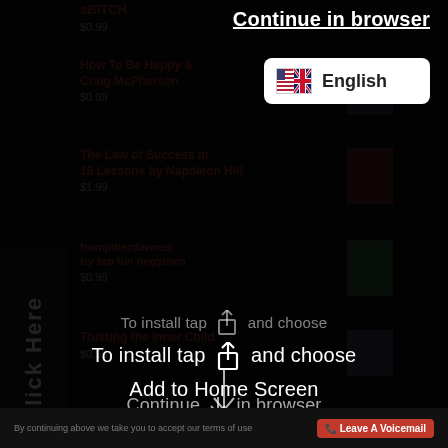[Figure (screenshot): Mobile browser screenshot showing a dark-themed book listing app with an overlay prompt to install the web app. The overlay shows a language selector with English and UK/US flags, install instructions with a share icon, 'Add to Home Screen' text, a downward arrow, and 'Continue in browser' link. Background shows book listings including 'How To Be Happy' by Craig McPherson ($0.99), 'The Law of Success in 16 Lessons' by Napoleon Hill ($1.99), and other titles. A red 'Leave A Voicemail' button is at the bottom.]
Continue in browser
English
To install tap  and choose
Add to Home Screen
Continue in browser